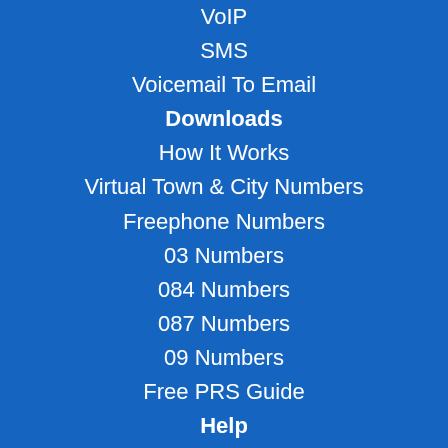VoIP
SMS
Voicemail To Email
Downloads
How It Works
Virtual Town & City Numbers
Freephone Numbers
03 Numbers
084 Numbers
087 Numbers
09 Numbers
Free PRS Guide
Help
Testimonals
FAQ
Live Chat
About Us
Contact Us
Terms & Conditions